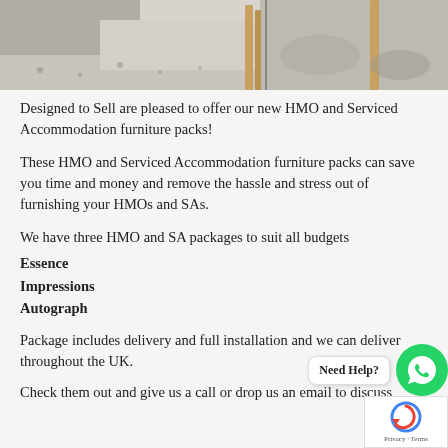[Figure (photo): Construction site photo showing concrete/sand surface with wooden stakes or posts, cropped at top of page]
Designed to Sell are pleased to offer our new HMO and Serviced Accommodation furniture packs!
These HMO and Serviced Accommodation furniture packs can save you time and money and remove the hassle and stress out of furnishing your HMOs and SAs.
We have three HMO and SA packages to suit all budgets
Essence
Impressions
Autograph
Package includes delivery and full installation and we can deliver throughout the UK.
Check them out and give us a call or drop us an email to discuss